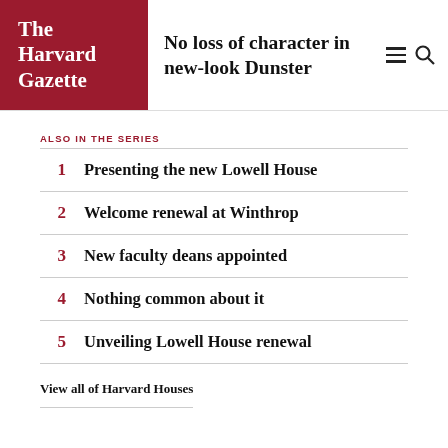The Harvard Gazette
No loss of character in new-look Dunster
ALSO IN THE SERIES
1 Presenting the new Lowell House
2 Welcome renewal at Winthrop
3 New faculty deans appointed
4 Nothing common about it
5 Unveiling Lowell House renewal
View all of Harvard Houses